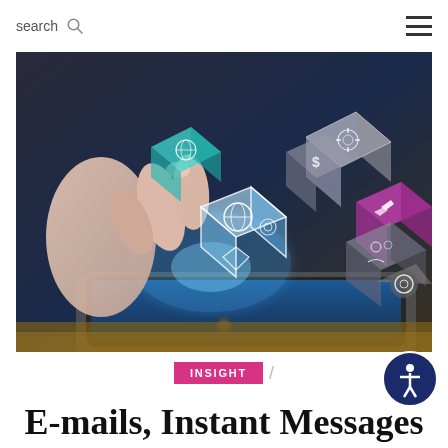search  ☰
[Figure (photo): A hand touching a tablet screen with 3D glowing holographic cubes floating above it, each displaying various app icons including globe, settings gear, airplane, camera, dollar sign, people, and other digital icons. The image has a tech/digital theme with blue glowing effects.]
INSIGHT
E-mails, Instant Messages (M…